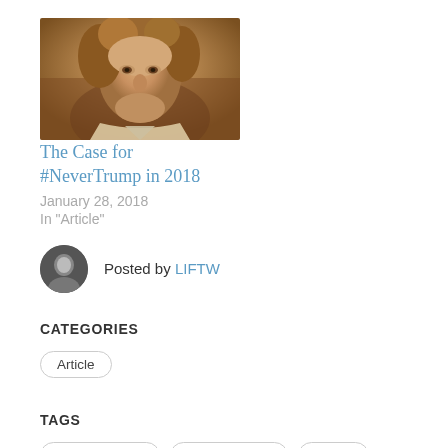[Figure (photo): Portrait painting of a historical figure, close-up of face with curly brown hair, warm tones]
The Case for #NeverTrump in 2018
January 28, 2018
In "Article"
Posted by LIFTW
CATEGORIES
Article
TAGS
donald j trump
Donald Trump
exgop
GOP